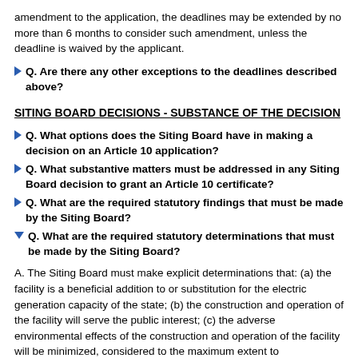amendment to the application, the deadlines may be extended by no more than 6 months to consider such amendment, unless the deadline is waived by the applicant.
Q. Are there any other exceptions to the deadlines described above?
SITING BOARD DECISIONS - SUBSTANCE OF THE DECISION
Q. What options does the Siting Board have in making a decision on an Article 10 application?
Q. What substantive matters must be addressed in any Siting Board decision to grant an Article 10 certificate?
Q. What are the required statutory findings that must be made by the Siting Board?
Q. What are the required statutory determinations that must be made by the Siting Board?
A. The Siting Board must make explicit determinations that: (a) the facility is a beneficial addition to or substitution for the electric generation capacity of the state; (b) the construction and operation of the facility will serve the public interest; (c) the adverse environmental effects of the construction and operation of the facility will be minimized, considered to the maximum extent to...